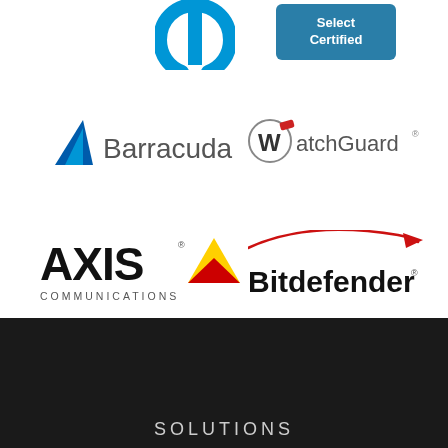[Figure (logo): HP logo (partial, blue)]
[Figure (logo): HP Select Certified badge - dark teal rounded rectangle with white text 'Select Certified']
[Figure (logo): Barracuda Networks logo - blue triangle/fin shape with 'Barracuda' text in grey]
[Figure (logo): WatchGuard logo - circle with W and red tab, 'WatchGuard' text]
[Figure (logo): AXIS Communications logo - bold black AXIS text with yellow/red triangle, 'COMMUNICATIONS' subtitle]
[Figure (logo): Bitdefender logo - red swoosh line above 'Bitdefender' text]
SOLUTIONS